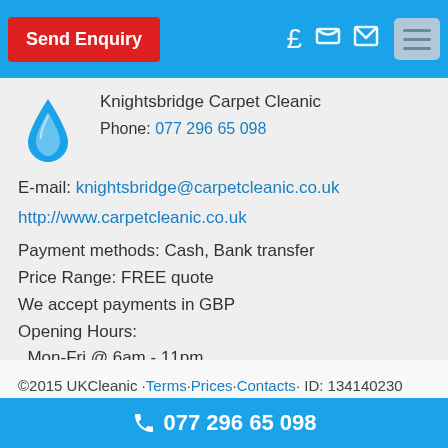Send Enquiry | £ phone email menu
[Figure (logo): Blue water droplet logo for Knightsbridge Carpet Cleanic]
Knightsbridge Carpet Cleanic
Phone: 077 296 65 098
E-mail: knightsbridge@carpetcleanic.co.uk
http://www.carpetcleanic.co.uk
Payment methods: Cash, Bank transfer
Price Range: FREE quote
We accept payments in GBP
Opening Hours:
  Mon-Fri @ 6am - 11pm
  Sat-Sun @ 7am - 10pm
©2015 UKCleanic · Terms · Prices · Contacts · ID: 134140230
077 296 65 098